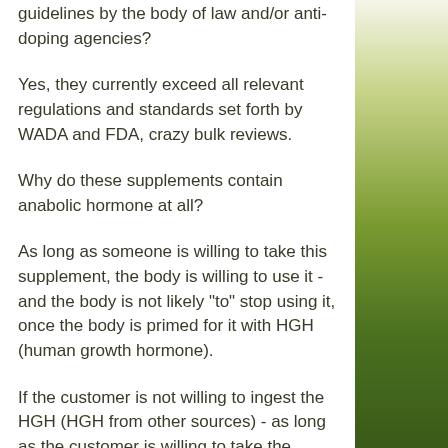guidelines by the body of law and/or anti-doping agencies?
Yes, they currently exceed all relevant regulations and standards set forth by WADA and FDA, crazy bulk reviews.
Why do these supplements contain anabolic hormone at all?
As long as someone is willing to take this supplement, the body is willing to use it - and the body is not likely "to" stop using it, once the body is primed for it with HGH (human growth hormone).
If the customer is not willing to ingest the HGH (HGH from other sources) - as long as the customer is willing to take the supplement, they are not doing it illegally, crazy bulk reviews.